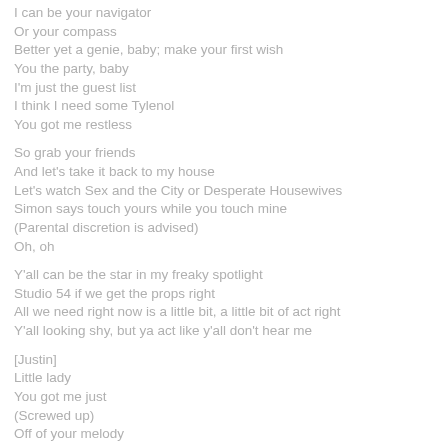I can be your navigator
Or your compass
Better yet a genie, baby; make your first wish
You the party, baby
I'm just the guest list
I think I need some Tylenol
You got me restless
So grab your friends
And let's take it back to my house
Let's watch Sex and the City or Desperate Housewives
Simon says touch yours while you touch mine
(Parental discretion is advised)
Oh, oh
Y'all can be the star in my freaky spotlight
Studio 54 if we get the props right
All we need right now is a little bit, a little bit of act right
Y'all looking shy, but ya act like y'all don't hear me
[Justin]
Little lady
You got me just
(Screwed up)
Off of your melody
Little lady
C'mon and don't
(Chop me up)
Please don't make a fool of me
Little lady
You got me just
(Screwed up)